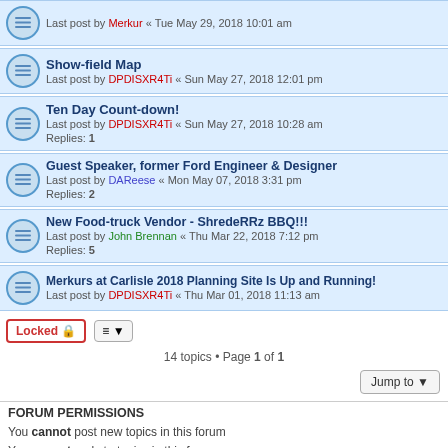Last post by Merkur « Tue May 29, 2018 10:01 am
Show-field Map
Last post by DPDISXR4Ti « Sun May 27, 2018 12:01 pm
Ten Day Count-down!
Last post by DPDISXR4Ti « Sun May 27, 2018 10:28 am
Replies: 1
Guest Speaker, former Ford Engineer & Designer
Last post by DAReese « Mon May 07, 2018 3:31 pm
Replies: 2
New Food-truck Vendor - ShredeRRz BBQ!!!
Last post by John Brennan « Thu Mar 22, 2018 7:12 pm
Replies: 5
Merkurs at Carlisle 2018 Planning Site Is Up and Running!
Last post by DPDISXR4Ti « Thu Mar 01, 2018 11:13 am
14 topics • Page 1 of 1
FORUM PERMISSIONS
You cannot post new topics in this forum
You cannot reply to topics in this forum
You cannot edit your posts in this forum
You cannot delete your posts in this forum
You cannot post attachments in this forum